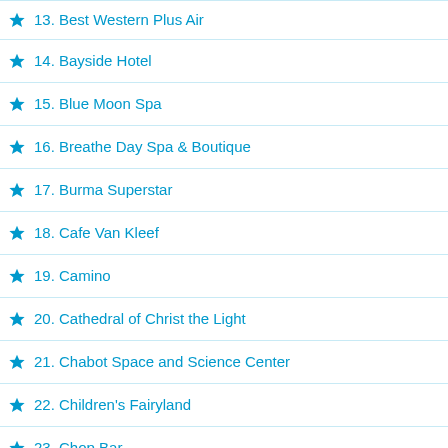13. Best Western Plus Air
14. Bayside Hotel
15. Blue Moon Spa
16. Breathe Day Spa & Boutique
17. Burma Superstar
18. Cafe Van Kleef
19. Camino
20. Cathedral of Christ the Light
21. Chabot Space and Science Center
22. Children's Fairyland
23. Chop Bar
24. Clarion Hotel Downtown Oakland
25. Comfort Inn & Suites
26. Commis
27. Cosmo Spa Lounge
28. Crimson Horticultural Rarities